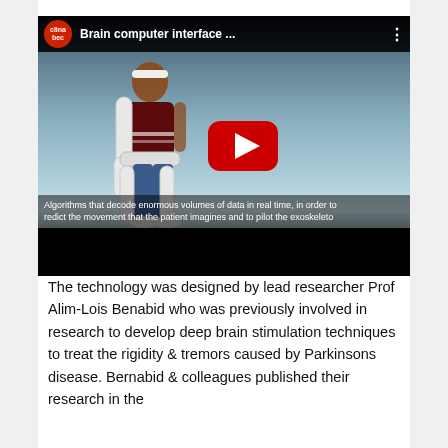[Figure (screenshot): YouTube video thumbnail showing a person wearing a white robotic exoskeleton suit with a brain-computer interface headband, standing against a light blue-grey background. The video title reads 'Brain computer interface ...' with a YouTube play button overlay. A subtitle reads 'Algorithms that decode enormous volumes of data in real time, in order to predict the movement that the patient imagines and to pilot the exoskeleton'. The video has a black bar at the bottom.]
The technology was designed by lead researcher Prof Alim-Lois Benabid who was previously involved in research to develop deep brain stimulation techniques to treat the rigidity & tremors caused by Parkinsons disease. Bernabid & colleagues published their research in the